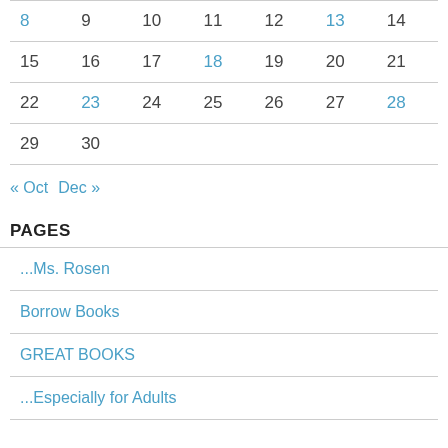| Sun | Mon | Tue | Wed | Thu | Fri | Sat |
| --- | --- | --- | --- | --- | --- | --- |
| 8 | 9 | 10 | 11 | 12 | 13 | 14 |
| 15 | 16 | 17 | 18 | 19 | 20 | 21 |
| 22 | 23 | 24 | 25 | 26 | 27 | 28 |
| 29 | 30 |  |  |  |  |  |
« Oct   Dec »
PAGES
...Ms. Rosen
Borrow Books
GREAT BOOKS
...Especially for Adults